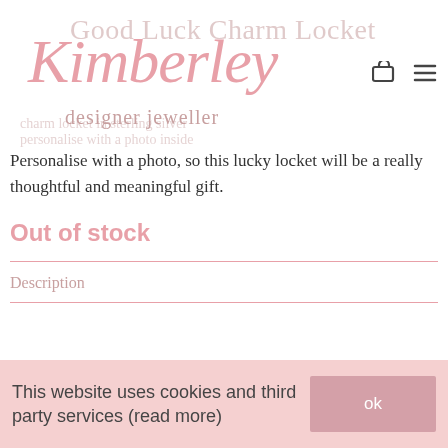[Figure (logo): Kimberley designer jeweller logo in pink script with 'Good Luck Charm Locket' text faded in background]
Personalise with a photo, so this lucky locket will be a really thoughtful and meaningful gift.
Out of stock
Description
This website uses cookies and third party services (read more)